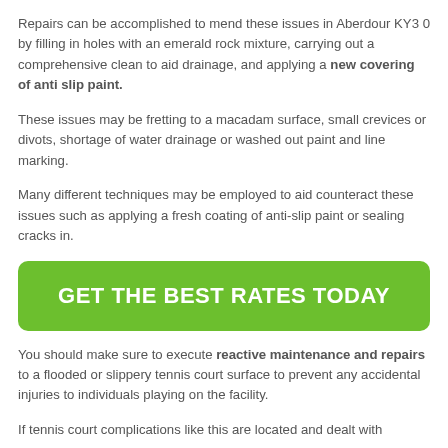Repairs can be accomplished to mend these issues in Aberdour KY3 0 by filling in holes with an emerald rock mixture, carrying out a comprehensive clean to aid drainage, and applying a new covering of anti slip paint.
These issues may be fretting to a macadam surface, small crevices or divots, shortage of water drainage or washed out paint and line marking.
Many different techniques may be employed to aid counteract these issues such as applying a fresh coating of anti-slip paint or sealing cracks in.
[Figure (other): Green call-to-action button with white bold text: GET THE BEST RATES TODAY]
You should make sure to execute reactive maintenance and repairs to a flooded or slippery tennis court surface to prevent any accidental injuries to individuals playing on the facility.
If tennis court complications like this are located and dealt with